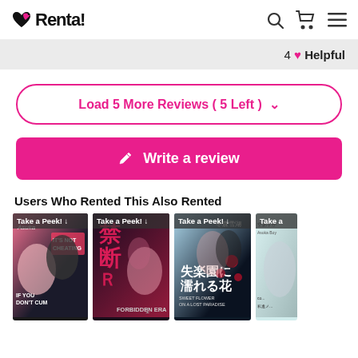Renta!
4 ♥ Helpful
Load 5 More Reviews ( 5 Left ) ∨
✏ Write a review
Users Who Rented This Also Rented
[Figure (illustration): Four manga book covers in a horizontal row: 'IT'S NOT CHEATING / IF YOU DON'T CUM', a forbidden romance manga with Japanese title '禁断R', '失楽園に濡れる花 Sweet Flower on a Lost Paradise', and a fourth partially visible cover. Each has a 'Take a Peek! ↓' banner.]